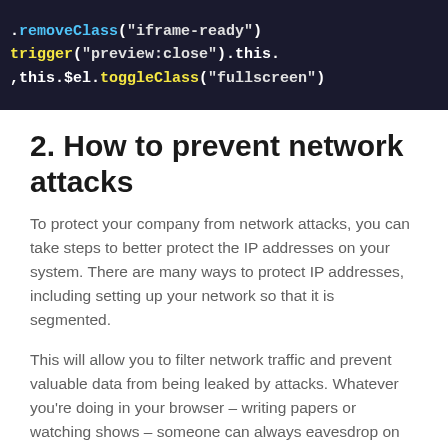[Figure (screenshot): Dark-themed code editor screenshot showing JavaScript/jQuery code with syntax highlighting. Lines include .removeClass, trigger("preview:close"), this.$el.toggleClass with colored keywords in blue and yellow.]
2. How to prevent network attacks
To protect your company from network attacks, you can take steps to better protect the IP addresses on your system. There are many ways to protect IP addresses, including setting up your network so that it is segmented.
This will allow you to filter network traffic and prevent valuable data from being leaked by attacks. Whatever you're doing in your browser – writing papers or watching shows – someone can always eavesdrop on your traffic. To improve IP security, look for ways to demilitarize zones and implement rules to protect them. The more rules you write, the finer the security